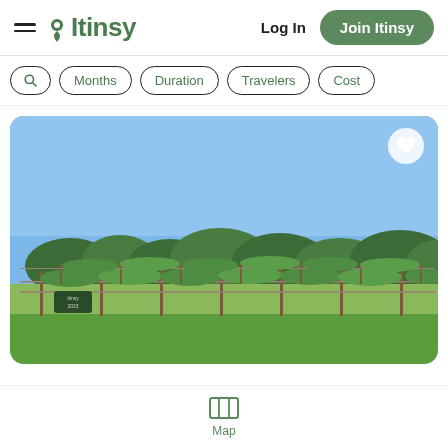Itinsy — Log In — Join Itinsy
Months | Duration | Travelers | Cost
[Figure (photo): Photograph of a vineyard with rows of grapevines under a clear blue sky, green trees in background, green grass in foreground, small sign visible on left]
Map